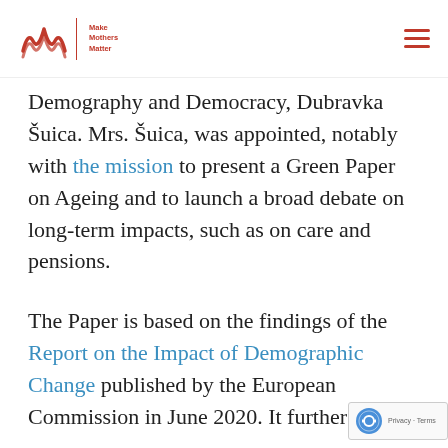Make Mothers Matter
Demography and Democracy, Dubravka Šuica. Mrs. Šuica, was appointed, notably with the mission to present a Green Paper on Ageing and to launch a broad debate on long-term impacts, such as on care and pensions.
The Paper is based on the findings of the Report on the Impact of Demographic Change published by the European Commission in June 2020. It further set